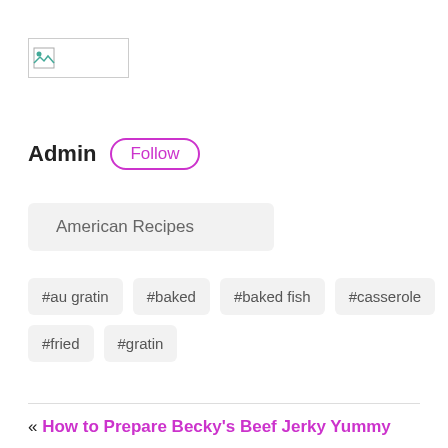[Figure (logo): Small image/logo placeholder box with a broken image icon]
Admin Follow
American Recipes
#au gratin
#baked
#baked fish
#casserole
#fried
#gratin
« How to Prepare Becky's Beef Jerky Yummy